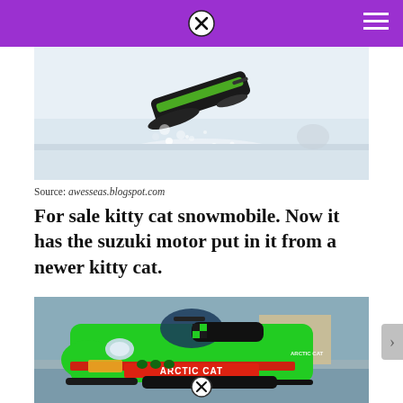[Figure (photo): Snowmobile jumping or in motion in snowy conditions, green Arctic Cat sled visible, snow spray in air]
Source: awesseas.blogspot.com
For sale kitty cat snowmobile. Now it has the suzuki motor put in it from a newer kitty cat.
[Figure (photo): Green Arctic Cat kitty cat snowmobile parked on snowy ground, ARCTIC CAT branding visible on body]